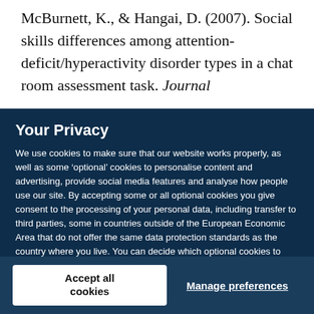McBurnett, K., & Hangai, D. (2007). Social skills differences among attention-deficit/hyperactivity disorder types in a chat room assessment task. Journal
Your Privacy
We use cookies to make sure that our website works properly, as well as some ‘optional’ cookies to personalise content and advertising, provide social media features and analyse how people use our site. By accepting some or all optional cookies you give consent to the processing of your personal data, including transfer to third parties, some in countries outside of the European Economic Area that do not offer the same data protection standards as the country where you live. You can decide which optional cookies to accept by clicking on ‘Manage Settings’, where you can also find more information about how your personal data is processed. Further information can be found in our privacy policy.
Accept all cookies
Manage preferences